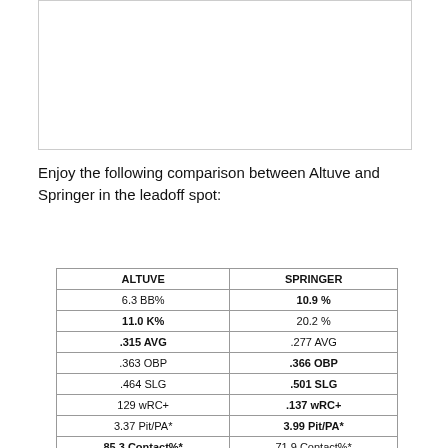[Figure (photo): Image placeholder at top of page (blank/white rectangle with border)]
Enjoy the following comparison between Altuve and Springer in the leadoff spot:
| ALTUVE | SPRINGER |
| --- | --- |
| 6.3 BB% | 10.9 % |
| 11.0 K% | 20.2 % |
| .315 AVG | .277 AVG |
| .363 OBP | .366 OBP |
| .464 SLG | .501 SLG |
| 129 wRC+ | .137 wRC+ |
| 3.37 Pit/PA* | 3.99 Pit/PA* |
| 85.3 Contact%* | 71.9 Contact%* |